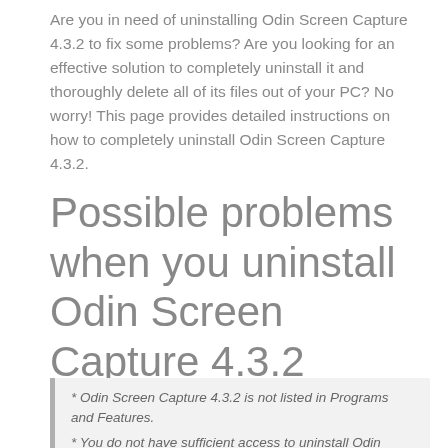Are you in need of uninstalling Odin Screen Capture 4.3.2 to fix some problems? Are you looking for an effective solution to completely uninstall it and thoroughly delete all of its files out of your PC? No worry! This page provides detailed instructions on how to completely uninstall Odin Screen Capture 4.3.2.
Possible problems when you uninstall Odin Screen Capture 4.3.2
* Odin Screen Capture 4.3.2 is not listed in Programs and Features.
* You do not have sufficient access to uninstall Odin Screen Capture 4.3.2.